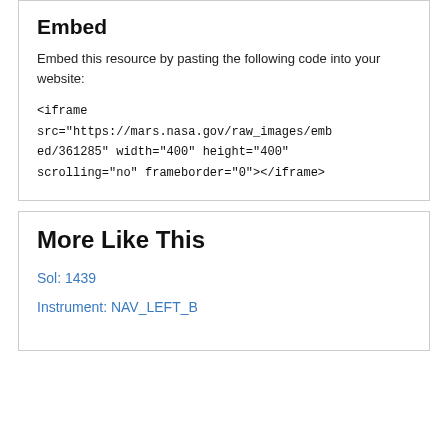Embed
Embed this resource by pasting the following code into your website:
<iframe src="https://mars.nasa.gov/raw_images/embed/361285" width="400" height="400" scrolling="no" frameborder="0"></iframe>
More Like This
Sol: 1439
Instrument: NAV_LEFT_B